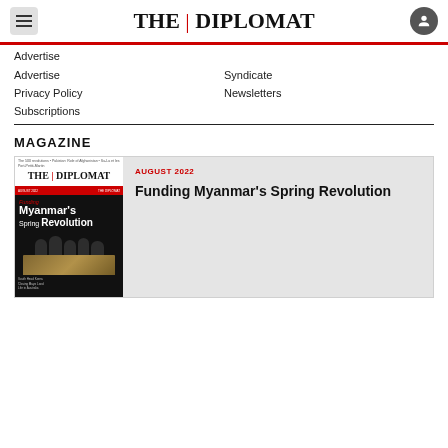THE | DIPLOMAT
Advertise
Syndicate
Privacy Policy
Newsletters
Subscriptions
MAGAZINE
[Figure (illustration): The Diplomat magazine cover for August 2022 featuring 'Funding Myanmar's Spring Revolution' text over a dark background with silhouetted figures and stacks of money]
AUGUST 2022
Funding Myanmar's Spring Revolution